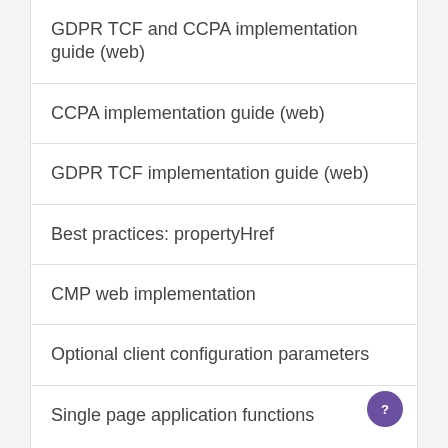GDPR TCF and CCPA implementation guide (web)
CCPA implementation guide (web)
GDPR TCF implementation guide (web)
Best practices: propertyHref
CMP web implementation
Optional client configuration parameters
Single page application functions